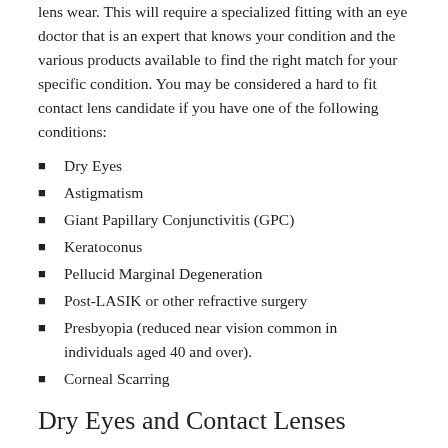lens wear. This will require a specialized fitting with an eye doctor that is an expert that knows your condition and the various products available to find the right match for your specific condition. You may be considered a hard to fit contact lens candidate if you have one of the following conditions:
Dry Eyes
Astigmatism
Giant Papillary Conjunctivitis (GPC)
Keratoconus
Pellucid Marginal Degeneration
Post-LASIK or other refractive surgery
Presbyopia (reduced near vision common in individuals aged 40 and over).
Corneal Scarring
Dry Eyes and Contact Lenses
Dry Eye Syndrome causes your eyes to feel dry, gritty, burning, red, and irritated. Dry Eye Syndrome can also cause blurred vision. Often these